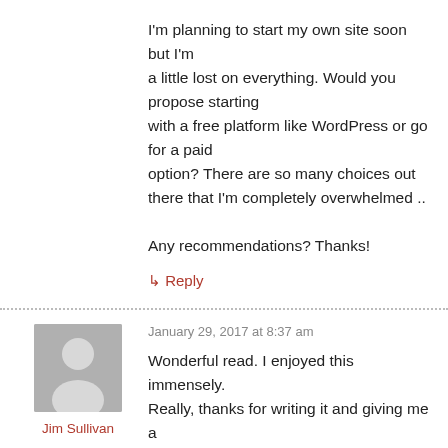I'm planning to start my own site soon but I'm a little lost on everything. Would you propose starting with a free platform like WordPress or go for a paid option? There are so many choices out there that I'm completely overwhelmed ..
Any recommendations? Thanks!
↳ Reply
January 29, 2017 at 8:37 am
Jim Sullivan
Wonderful read. I enjoyed this immensely. Really, thanks for writing it and giving me a trip down memory lane.